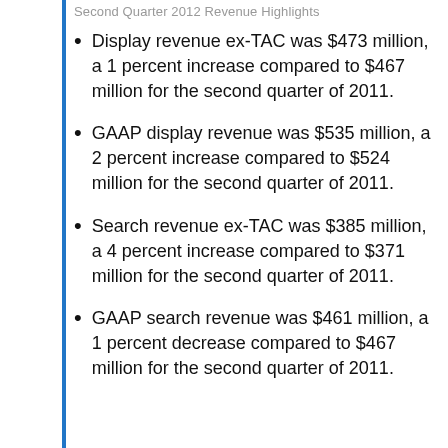Second Quarter 2012 Revenue Highlights
Display revenue ex-TAC was $473 million, a 1 percent increase compared to $467 million for the second quarter of 2011.
GAAP display revenue was $535 million, a 2 percent increase compared to $524 million for the second quarter of 2011.
Search revenue ex-TAC was $385 million, a 4 percent increase compared to $371 million for the second quarter of 2011.
GAAP search revenue was $461 million, a 1 percent decrease compared to $467 million for the second quarter of 2011.